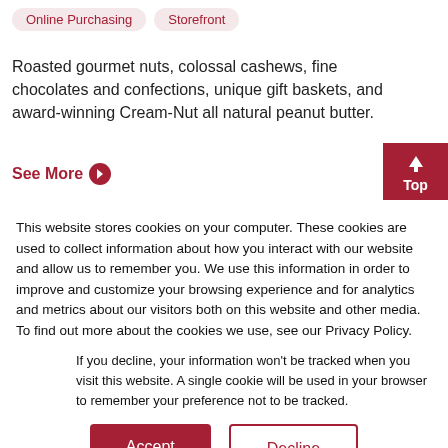Online Purchasing
Storefront
Roasted gourmet nuts, colossal cashews, fine chocolates and confections, unique gift baskets, and award-winning Cream-Nut all natural peanut butter.
See More →
This website stores cookies on your computer. These cookies are used to collect information about how you interact with our website and allow us to remember you. We use this information in order to improve and customize your browsing experience and for analytics and metrics about our visitors both on this website and other media. To find out more about the cookies we use, see our Privacy Policy.
If you decline, your information won't be tracked when you visit this website. A single cookie will be used in your browser to remember your preference not to be tracked.
Accept
Decline